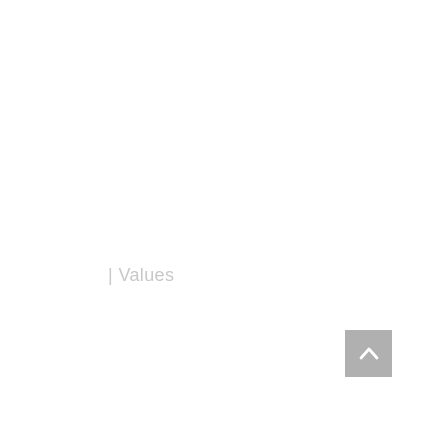| Values
[Figure (other): Gray square button with white upward-pointing chevron arrow, used as a scroll-to-top navigation button]